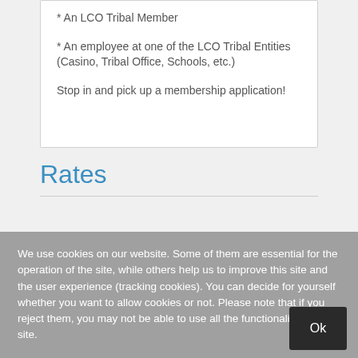* An LCO Tribal Member
* An employee at one of the LCO Tribal Entities (Casino, Tribal Office, Schools, etc.)
Stop in and pick up a membership application!
Rates
We use cookies on our website. Some of them are essential for the operation of the site, while others help us to improve this site and the user experience (tracking cookies). You can decide for yourself whether you want to allow cookies or not. Please note that if you reject them, you may not be able to use all the functionalities of the site.